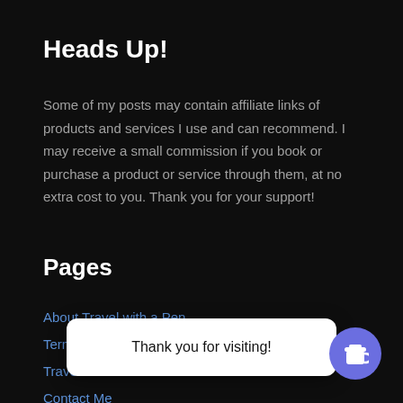Heads Up!
Some of my posts may contain affiliate links of products and services I use and can recommend. I may receive a small commission if you book or purchase a product or service through them, at no extra cost to you. Thank you for your support!
Pages
About Travel with a Pen
Terms and Co...
Travel with a...
Contact Me
My Living List...
Thank you for visiting!